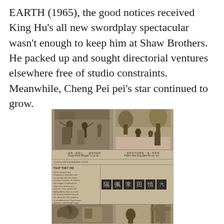EARTH (1965), the good notices received King Hu's all new swordplay spectacular wasn't enough to keep him at Shaw Brothers. He packed up and sought directorial ventures elsewhere free of studio constraints. Meanwhile, Cheng Pei pei's star continued to grow.
[Figure (photo): A scanned magazine page showing stills from a Chinese martial arts film. Top row has two black-and-white swordplay scene photographs with Chinese and English captions below. Middle section shows a Chinese film title in large characters (隔 佩 常 田 情 汽) against dark backgrounds on the right side, and English text column on the left with title 'THAT THEY DIE'. Bottom row shows two more film scene photographs. The website coolasiccinema.com is printed on the page.]